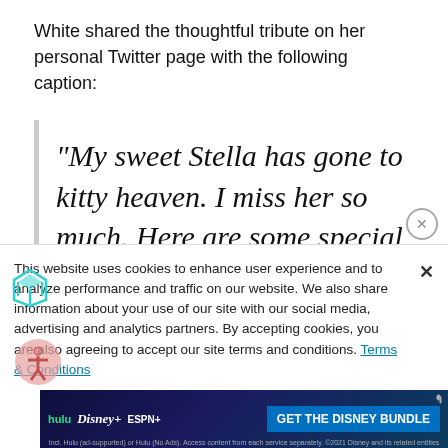White shared the thoughtful tribute on her personal Twitter page with the following caption:
“My sweet Stella has gone to kitty heaven. I miss her so much. Here are some special memories of the 16 years we had together” – Vanna
This website uses cookies to enhance user experience and to analyze performance and traffic on our website. We also share information about your use of our site with our social media, advertising and analytics partners. By accepting cookies, you are also agreeing to accept our site terms and conditions. Terms & Conditions
[Figure (screenshot): Disney Bundle advertisement banner with Hulu, Disney+, ESPN+ logos and 'GET THE DISNEY BUNDLE' call to action button]